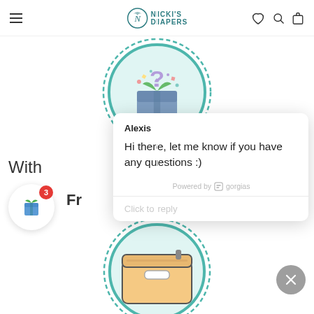Nicki's Diapers — website header with hamburger menu, logo, heart, search, and bag icons
[Figure (illustration): Circular illustration with dashed border and teal ring showing a gift box with a question mark and confetti, partially visible at top center]
With
Fr
[Figure (infographic): White circular gift badge button with teal gift icon and red notification badge showing number 3]
[Figure (screenshot): Live chat popup widget from Gorgias showing agent name Alexis with message 'Hi there, let me know if you have any questions :)' and a 'Click to reply' input area]
[Figure (illustration): Circular illustration with dashed border and teal ring showing a wallet/purse icon, partially visible at bottom center]
[Figure (other): Gray circular close/dismiss button with X icon in bottom right corner]